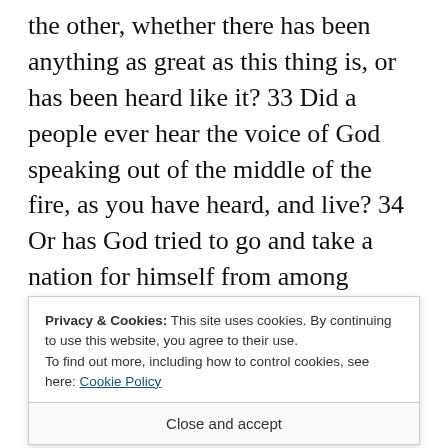the other, whether there has been anything as great as this thing is, or has been heard like it? 33 Did a people ever hear the voice of God speaking out of the middle of the fire, as you have heard, and live? 34 Or has God tried to go and take a nation for himself from among another nation, by trials, by signs, by wonders, by war, by a mighty hand, by an outstretched arm, and by great terrors, according to all that
Privacy & Cookies: This site uses cookies. By continuing to use this website, you agree to their use. To find out more, including how to control cookies, see here: Cookie Policy
Close and accept
to hear his voice, that he might instruct you. On